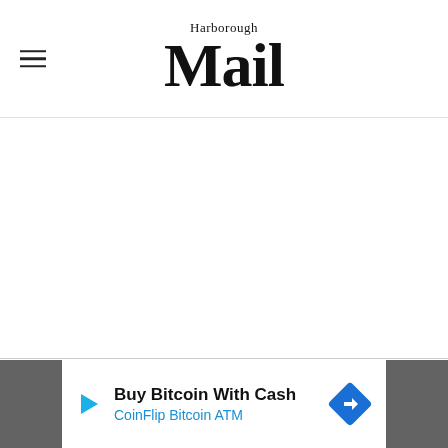Harborough Mail
[Figure (screenshot): Empty white content area of the Harborough Mail website]
[Figure (infographic): Advertisement banner: Buy Bitcoin With Cash - CoinFlip Bitcoin ATM, with play button icon and diamond direction sign icon, flanked by dark grey side panels]